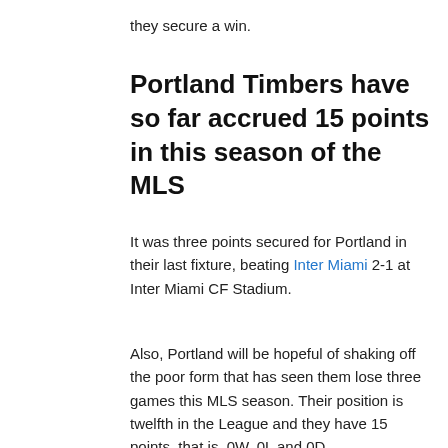they secure a win.
Portland Timbers have so far accrued 15 points in this season of the MLS
It was three points secured for Portland in their last fixture, beating Inter Miami 2-1 at Inter Miami CF Stadium.
Also, Portland will be hopeful of shaking off the poor form that has seen them lose three games this MLS season. Their position is twelfth in the League and they have 15 points, that is, 0W, 0L and 0D.
Portland's away record is remarkable and poses a significant threat to Galaxy. In the 8 games they've played on the road this season, they have so far won